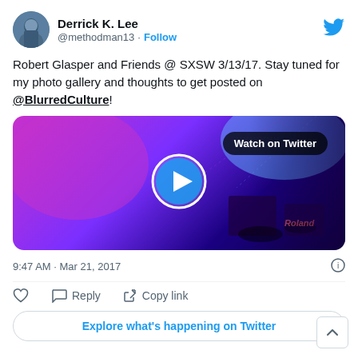[Figure (screenshot): Twitter/X profile avatar showing a person in a blue jacket]
Derrick K. Lee
@methodman13 · Follow
[Figure (logo): Twitter bird logo in blue]
Robert Glasper and Friends @ SXSW 3/13/17. Stay tuned for my photo gallery and thoughts to get posted on @BlurredCulture!
[Figure (photo): Video thumbnail showing a concert stage with purple and blue lighting, drums visible, with a Watch on Twitter badge and play button overlay]
9:47 AM · Mar 21, 2017
♡  Reply  Copy link
Explore what's happening on Twitter